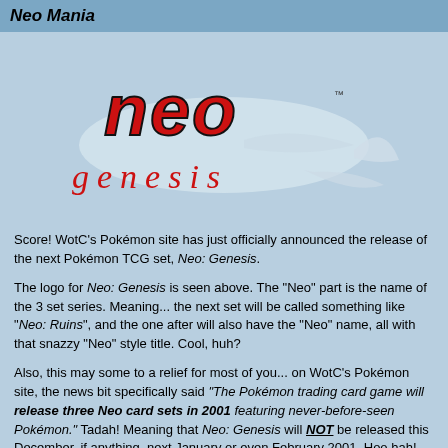Neo Mania
[Figure (logo): Neo Genesis Pokémon TCG set logo — red stylized 'neo' lettering above italic 'genesis' text in red, with a Mantine fish silhouette behind]
Score! WotC's Pokémon site has just officially announced the release of the next Pokémon TCG set, Neo: Genesis.
The logo for Neo: Genesis is seen above. The "Neo" part is the name of the 3 set series. Meaning... the next set will be called something like "Neo: Ruins", and the one after will also have the "Neo" name, all with that snazzy "Neo" style title. Cool, huh?
Also, this may some to a relief for most of you... on WotC's Pokémon site, the news bit specifically said "The Pokémon trading card game will release three Neo card sets in 2001 featuring never-before-seen Pokémon." Tadah! Meaning that Neo: Genesis will NOT be released this December, if anything, next January or even February 2001. Hoo hah!
Plus... the news bit also gave you a bit of a teaser... it tells you to come back on December 1st to the WotC's Pokémon site for more info. Not only will that day have new Neo news for you (wow, that rhymes!), my sources indicate that that'll also be the day when